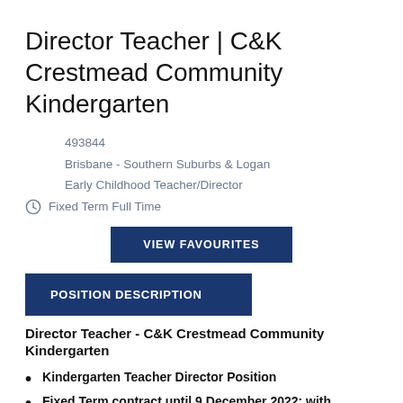Director Teacher | C&K Crestmead Community Kindergarten
493844
Brisbane - Southern Suburbs & Logan
Early Childhood Teacher/Director
Fixed Term Full Time
VIEW FAVOURITES
POSITION DESCRIPTION
Director Teacher - C&K Crestmead Community Kindergarten
Kindergarten Teacher Director Position
Fixed Term contract until 9 December 2022; with possibility of extension
Fulltime – Monday to Friday working 7.5 hours a day